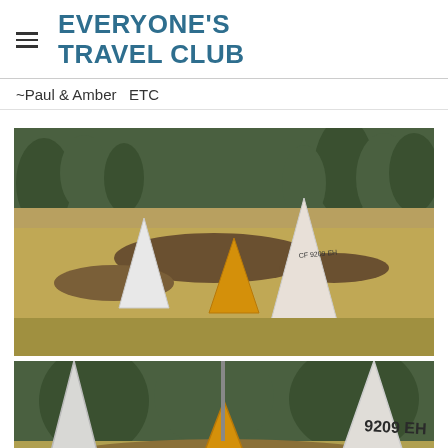EVERYONE'S TRAVEL CLUB
~Paul & Amber   ETC
[Figure (photo): Outdoor scene with sailboat hulls or covers stored on dry grassy hillside with evergreen trees in background. White and yellow sail covers/hulls visible. One marked CF 9209 EH.]
[Figure (photo): Close-up of same sailboat hulls/covers on hillside. White hull on left, yellow hull in center, white hull on right marked 9209 EH.]